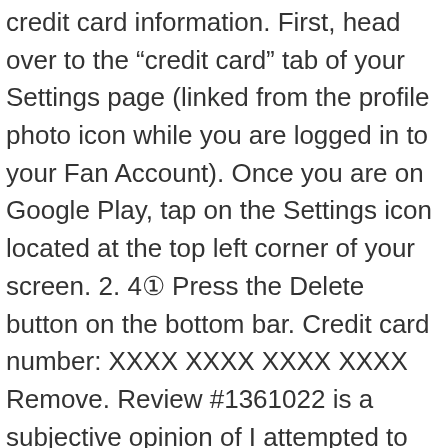credit card information. First, head over to the “credit card” tab of your Settings page (linked from the profile photo icon while you are logged in to your Fan Account). Once you are on Google Play, tap on the Settings icon located at the top left corner of your screen. 2. 4① Press the Delete button on the bottom bar. Credit card number: XXXX XXXX XXXX XXXX Remove. Review #1361022 is a subjective opinion of I attempted to sign up for a free trial online, long story short I never got a free trial or an account online, and when I called the customer service number the next day, (4 times) when I realized five different charges were on my bank card from this company, (I waited over 30 minutes on each call before it disconnecting) finally talked to a customer service rep. Said I had no account and the charges were pending and would drop